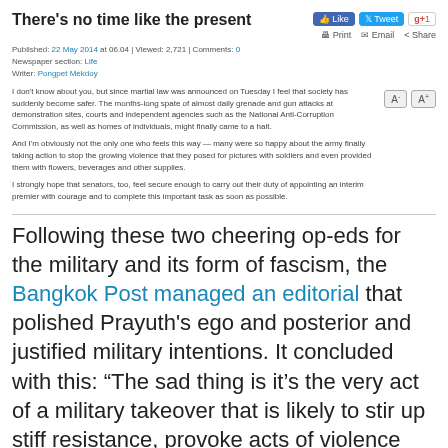There's no time like the present
Published: 22 May 2014 at 06.04 | Viewed: 2,721 | Comments: 0
Newspaper section: Life
Writer: Pongpet Mekdoy
I don't know about you, but since martial law was announced on Tuesday I feel that society has suddenly become safer. The months-long spate of almost daily grenade and gun attacks at demonstration sites, courts and independent agencies such as the National Anti-Corruption Commission, as well as homes of individuals, might finally came to a halt.
And I'm obviously not the only one who feels this way — many were so happy about the army finally taking action to stop the growing violence that they posed for pictures with soldiers and even provided them with flowers, beverages and other supplies.
I strongly hope that senators, too, feel secure enough to carry out their duty of appointing an interim premier with courage and to complete this important task as soon as possible.
Following these two cheering op-eds for the military and its form of fascism, the Bangkok Post managed an editorial that polished Prayuth's ego and posterior and justified military intentions. It concluded with this: “The sad thing is it's the very act of a military takeover that is likely to stir up stiff resistance, provoke acts of violence and possibly cause more loss of life. This coup is not the solution.” Well, of course it is not the solution, but the Post is always part of the problem falling on the wrong side...